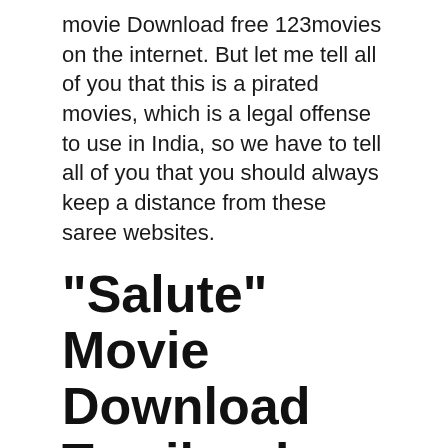movie Download free 123movies on the internet. But let me tell all of you that this is a pirated movies, which is a legal offense to use in India, so we have to tell all of you that you should always keep a distance from these saree websites.
“Salute” Movie Download Tamilrockers
Tamilrockers is one of the most famous film spill destinations on the web. This site has Telugu, Bollywood, Hollywood, and South named films. TamilRockers This site is habitually precluded by the public authority,